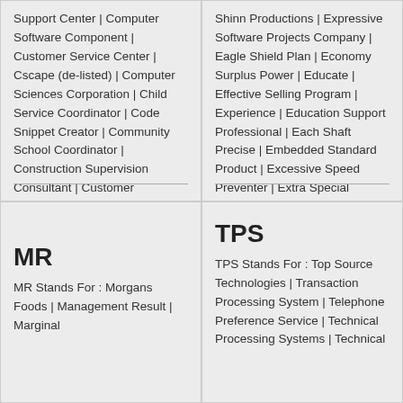Support Center | Computer Software Component | Customer Service Center | Cscape (de-listed) | Computer Sciences Corporation | Child Service Coordinator | Code Snippet Creator | Community School Coordinator | Construction Supervision Consultant | Customer Satisfaction Coordinator | Convention of Safe Containers | Canadian Society for Chemistry | Canadi
Shinn Productions | Expressive Software Projects Company | Eagle Shield Plan | Economy Surplus Power | Educate | Effective Selling Program | Experience | Education Support Professional | Each Shaft Precise | Embedded Standard Product | Excessive Speed Preventer | Extra Special Ponycar | Early warning Stock Predictor | Exchange Stock Portfolio | Express Stock Position | Espial Group
MR
MR Stands For : Morgans Foods | Management Result | Marginal
TPS
TPS Stands For : Top Source Technologies | Transaction Processing System | Telephone Preference Service | Technical Processing Systems | Technical